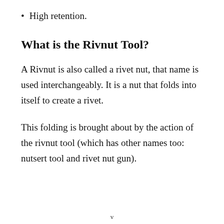High retention.
What is the Rivnut Tool?
A Rivnut is also called a rivet nut, that name is used interchangeably. It is a nut that folds into itself to create a rivet.
This folding is brought about by the action of the rivnut tool (which has other names too: nutsert tool and rivet nut gun).
v